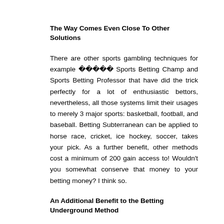The Way Comes Even Close To Other Solutions
There are other sports gambling techniques for example 토토사이트 Sports Betting Champ and Sports Betting Professor that have did the trick perfectly for a lot of enthusiastic bettors, nevertheless, all those systems limit their usages to merely 3 major sports: basketball, football, and baseball. Betting Subterranean can be applied to horse race, cricket, ice hockey, soccer, takes your pick. As a further benefit, other methods cost a minimum of 200 gain access to! Wouldn't you somewhat conserve that money to your betting money? I think so.
An Additional Benefit to the Betting Underground Method